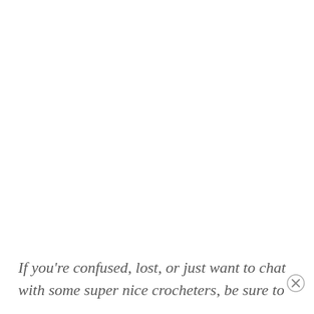If you're confused, lost, or just want to chat with some super nice crocheters, be sure to